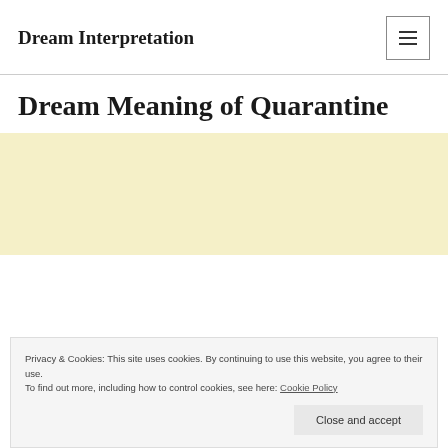Dream Interpretation
Dream Meaning of Quarantine
[Figure (other): Advertisement banner area with pale yellow background]
Privacy & Cookies: This site uses cookies. By continuing to use this website, you agree to their use.
To find out more, including how to control cookies, see here: Cookie Policy
Close and accept